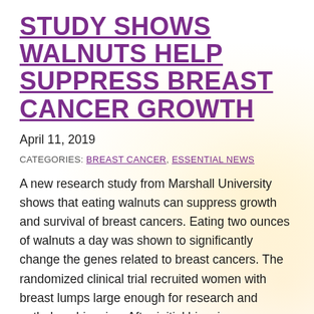STUDY SHOWS WALNUTS HELP SUPPRESS BREAST CANCER GROWTH
April 11, 2019
CATEGORIES: BREAST CANCER, ESSENTIAL NEWS
A new research study from Marshall University shows that eating walnuts can suppress growth and survival of breast cancers. Eating two ounces of walnuts a day was shown to significantly change the genes related to breast cancers. The randomized clinical trial recruited women with breast lumps large enough for research and pathology biopsies. After initial biopsies were collected, the women in the walnut group ate two ounces of walnuts a day for about two weeks. Changes in the gene expressions were